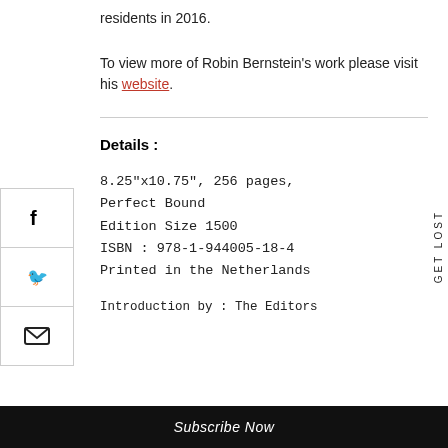residents in 2016.
To view more of Robin Bernstein's work please visit his website.
Details :
8.25"x10.75", 256 pages, Perfect Bound
Edition Size 1500
ISBN : 978-1-944005-18-4
Printed in the Netherlands
Introduction by : The Editors
Subscribe Now